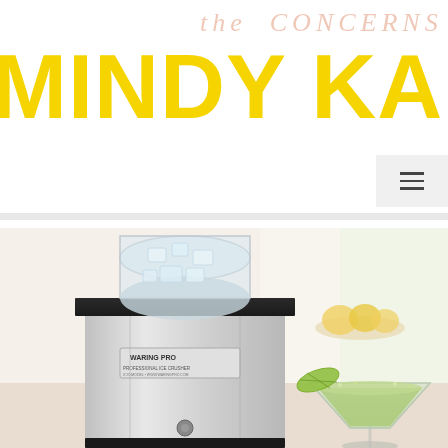the CONCERNS of MINDY KALI[NG]
[Figure (photo): A Waring Pro ice crusher/shaving machine with a clear hopper filled with ice cubes, silver stainless steel body with a label reading 'WARING PRO', set on a counter. In the background, a margarita glass with a green slushy drink and fruit garnish, and a bowl of fruit/snacks on a table.]